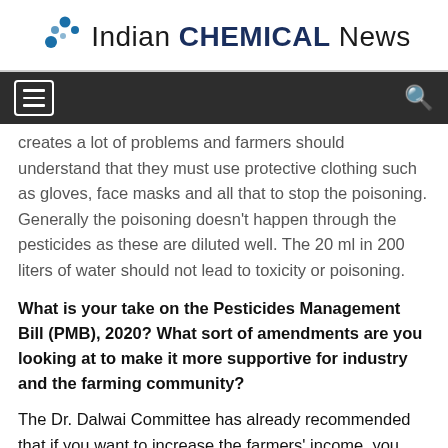Indian CHEMICAL News
creates a lot of problems and farmers should understand that they must use protective clothing such as gloves, face masks and all that to stop the poisoning. Generally the poisoning doesn't happen through the pesticides as these are diluted well. The 20 ml in 200 liters of water should not lead to toxicity or poisoning.
What is your take on the Pesticides Management Bill (PMB), 2020? What sort of amendments are you looking at to make it more supportive for industry and the farming community?
The Dr. Dalwai Committee has already recommended that if you want to increase the farmers' income, you must support the formulation and encourage R&D for the domestic companies. You